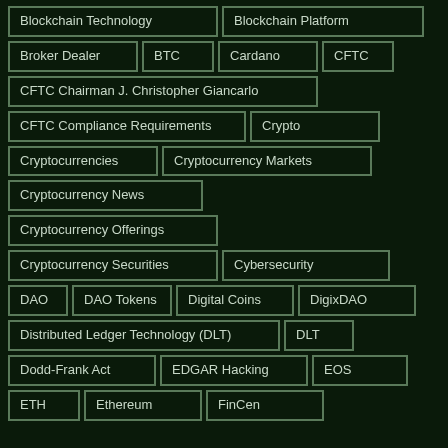Blockchain Technology
Blockchain Platform
Broker Dealer
BTC
Cardano
CFTC
CFTC Chairman J. Christopher Giancarlo
CFTC Compliance Requirements
Crypto
Cryptocurrencies
Cryptocurrency Markets
Cryptocurrency News
Cryptocurrency Offerings
Cryptocurrency Securities
Cybersecurity
DAO
DAO Tokens
Digital Coins
DigixDAO
Distributed Ledger Technology (DLT)
DLT
Dodd-Frank Act
EDGAR Hacking
EOS
ETH
Ethereum
FinCen